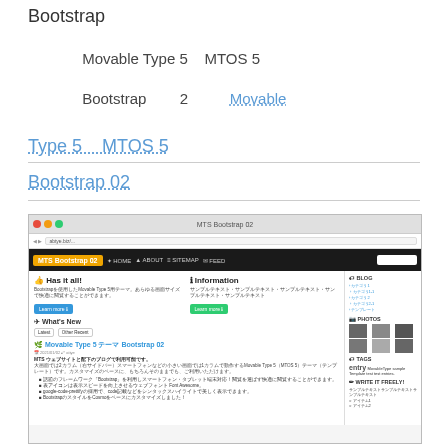Bootstrap
Movable Type 5　MTOS 5
Bootstrap　2　Movable Type 5　MTOS 5
Type 5　MTOS 5
Bootstrap 02
[Figure (screenshot): Screenshot of MTS Bootstrap 02 website showing homepage with navigation bar, 'Has it all!', 'Information', and 'What's New' sections, blog sidebar with categories and photo grid, and tags section.]